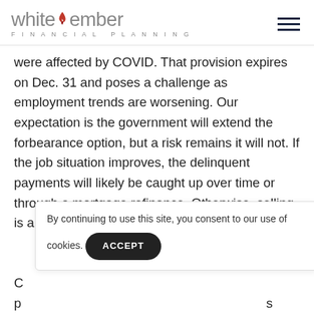white ember FINANCIAL PLANNING
were affected by COVID. That provision expires on Dec. 31 and poses a challenge as employment trends are worsening. Our expectation is the government will extend the forbearance option, but a risk remains it will not. If the job situation improves, the delinquent payments will likely be caught up over time or through a mortgage refinance. Otherwise, selling is a potential option.
By continuing to use this site, you consent to our use of cookies.
ACCEPT